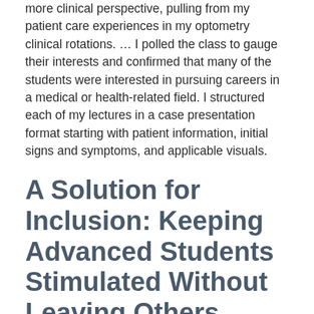more clinical perspective, pulling from my patient care experiences in my optometry clinical rotations. … I polled the class to gauge their interests and confirmed that many of the students were interested in pursuing careers in a medical or health-related field. I structured each of my lectures in a case presentation format starting with patient information, initial signs and symptoms, and applicable visuals.
A Solution for Inclusion: Keeping Advanced Students Stimulated Without Leaving Others Behind
by Nadia Kurd, Molecular and Cell Biology
I was frustrated to find that any time I catered to the more advanced students and presented more challenging topics, the rest of the class struggled to follow along; whereas when I continued to conduct class at a level where most of the students were comfortable, the